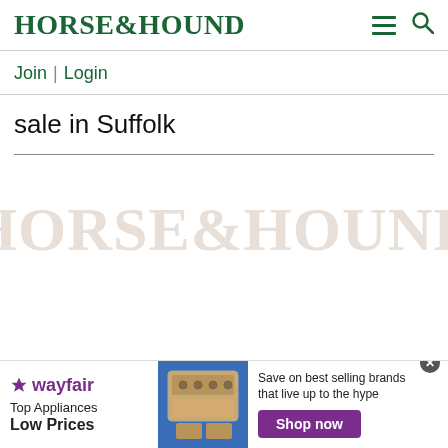HORSE&HOUND
Join | Login
sale in Suffolk
[Figure (logo): Horse & Hound watermark logo in light gray]
[Figure (other): Wayfair advertisement banner: Top Appliances Low Prices, image of stove, Save on best selling brands that live up to the hype, Shop now button]